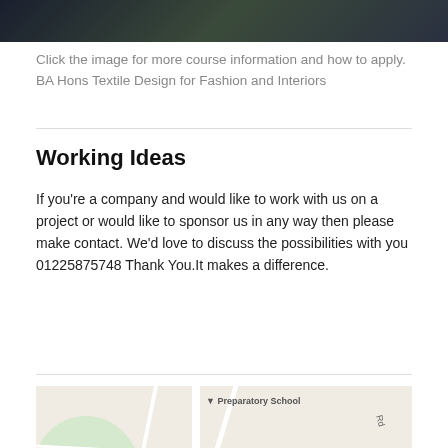[Figure (photo): Dark image of what appears to be a road or pathway, likely related to a university campus.]
Click the image for more course information and how to apply. BA Hons Textile Design for Fashion and Interiors
Working Ideas
If you're a company and would like to work with us on a project or would like to sponsor us in any way then please make contact. We'd love to discuss the possibilities with you 01225875748 Thank You.It makes a difference.
[Figure (map): Google Maps screenshot showing Bath Spa University - Sion Hill campus location, with nearby landmarks including Preparatory School and St Stephen's Church.]